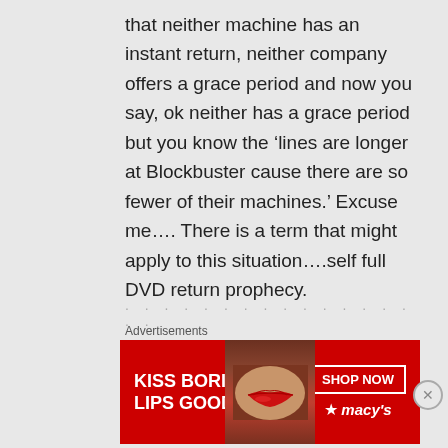that neither machine has an instant return, neither company offers a grace period and now you say, ok neither has a grace period but you know the ‘lines are longer at Blockbuster cause there are so fewer of their machines.’ Excuse me…. There is a term that might apply to this situation….self full DVD return prophecy.

Also, obviously there were no ‘warning’ long lines when you
Advertisements
[Figure (illustration): Macy's advertisement banner with red background. Text reads 'KISS BORING LIPS GOODBYE' on left side, a photo of a woman's face with red lips in the center-right, and 'SHOP NOW' button with Macy's star logo on the right.]